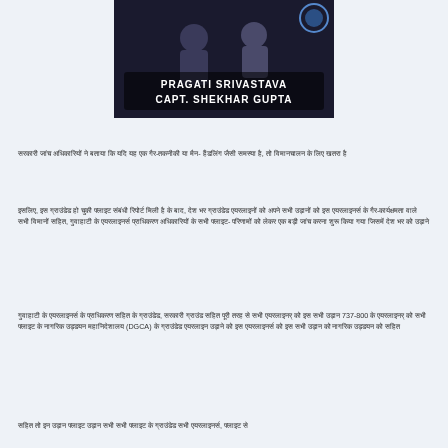[Figure (photo): Image showing two people with text overlay: 'PRAGATI SRIVASTAVA' and 'CAPT. SHEKHAR GUPTA']
Hindi text paragraph 1 - news article content about aviation/DGCA topic
Hindi text paragraph 2 - news article content
Hindi text paragraph 3 mentioning 737-800 and DGCA
Hindi text paragraph 4 - continuation